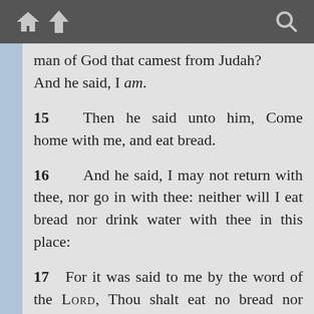[toolbar with home, up, and search icons]
man of God that camest from Judah? And he said, I am.
15    Then he said unto him, Come home with me, and eat bread.
16    And he said, I may not return with thee, nor go in with thee: neither will I eat bread nor drink water with thee in this place:
17    For it was said to me by the word of the LORD, Thou shalt eat no bread nor drink water there, nor turn again